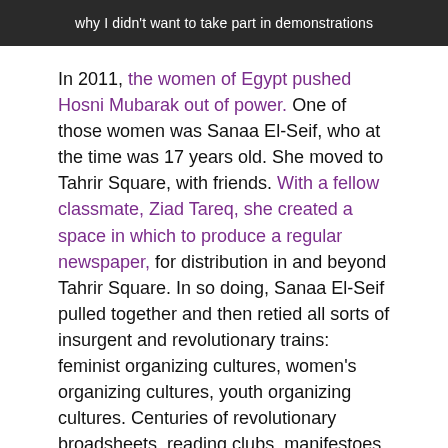[Figure (photo): Dark banner image with white text reading 'why I didn't want to take part in demonstrations']
In 2011, the women of Egypt pushed Hosni Mubarak out of power. One of those women was Sanaa El-Seif, who at the time was 17 years old. She moved to Tahrir Square, with friends. With a fellow classmate, Ziad Tareq, she created a space in which to produce a regular newspaper, for distribution in and beyond Tahrir Square. In so doing, Sanaa El-Seif pulled together and then retied all sorts of insurgent and revolutionary trains: feminist organizing cultures, women's organizing cultures, youth organizing cultures. Centuries of revolutionary broadsheets, reading clubs, manifestoes, samizdat, night schools, you name it, came together in the work of Sanaa El-Seif.
Mubarak left office. The world media, by and large, left Tahrir Square, except for those regular moments of implosion, and Sanaa El-Seif stayed. She stayed as so many women have, to push the revolution forward, to materialize real transformation in Egypt now.